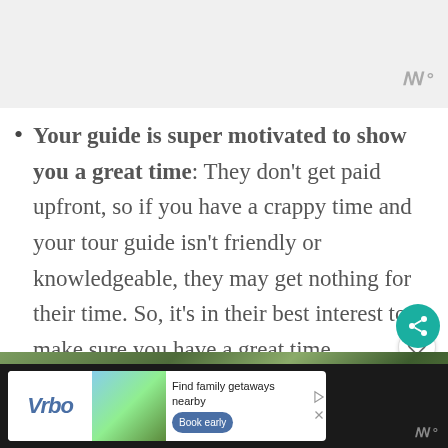Your guide is super motivated to show you a great time: They don't get paid upfront, so if you have a crappy time and your tour guide isn't friendly or knowledgeable, they may get nothing for their time. So, it's in their best interest to make sure you have a great time.
[Figure (photo): Outdoor nature photo showing green trees and hillside vegetation]
[Figure (screenshot): Vrbo advertisement banner with 'Find family getaways nearby' and Book early button]